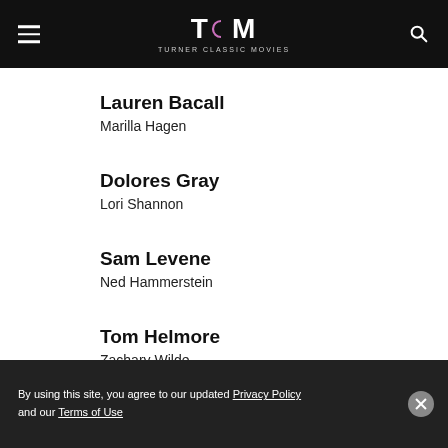TCM TURNER CLASSIC MOVIES
Lauren Bacall
Marilla Hagen
Dolores Gray
Lori Shannon
Sam Levene
Ned Hammerstein
Tom Helmore
Zachary Wilde
By using this site, you agree to our updated Privacy Policy and our Terms of Use